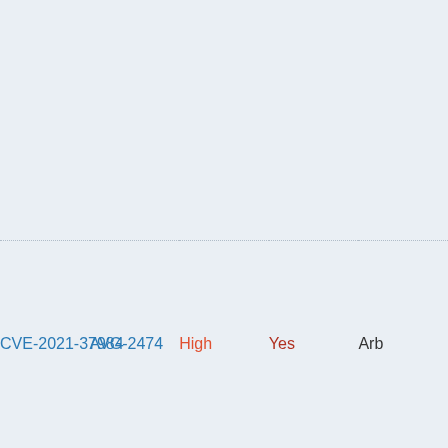| CVE | AVG | Severity | Exploited | Type |
| --- | --- | --- | --- | --- |
| CVE-2021-37984 | AVG-2474 | High | Yes | Arb... |